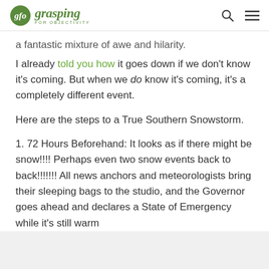grasping FOR OBJECTIVITY
a fantastic mixture of awe and hilarity.
I already told you how it goes down if we don't know it's coming. But when we do know it's coming, it's a completely different event.
Here are the steps to a True Southern Snowstorm.
1. 72 Hours Beforehand: It looks as if there might be snow!!!! Perhaps even two snow events back to back!!!!!!! All news anchors and meteorologists bring their sleeping bags to the studio, and the Governor goes ahead and declares a State of Emergency while it's still warm